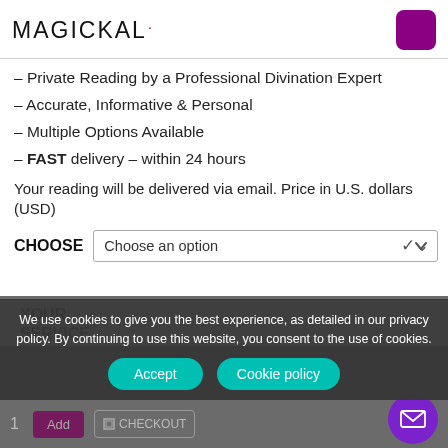[Figure (logo): Magickal logo with purple dot accent, and purple square button top right]
– Private Reading by a Professional Divination Expert
– Accurate, Informative & Personal
– Multiple Options Available
– FAST delivery – within 24 hours
Your reading will be delivered via email. Price in U.S. dollars (USD)
CHOOSE  Choose an option
YOUR
SERVICE
We use cookies to give you the best experience, as detailed in our privacy policy. By continuing to use this website, you consent to the use of cookies.
Accept   Cookie policy
1   Add   CHECKOUT